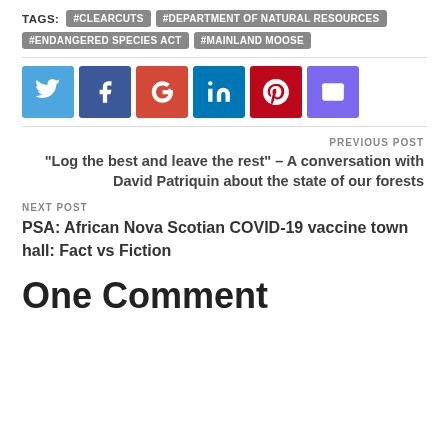TAGS: #CLEARCUTS #DEPARTMENT OF NATURAL RESOURCES #ENDANGERED SPECIES ACT #MAINLAND MOOSE
[Figure (infographic): Social share buttons: Twitter (light blue), Facebook (dark blue), Google+ (red), LinkedIn (dark teal), Pinterest (dark red), Email (purple)]
PREVIOUS POST
"Log the best and leave the rest" – A conversation with David Patriquin about the state of our forests
NEXT POST
PSA: African Nova Scotian COVID-19 vaccine town hall: Fact vs Fiction
One Comment